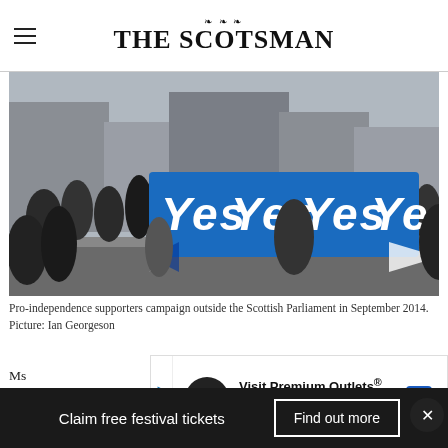THE SCOTSMAN
[Figure (photo): Pro-independence supporters holding a large blue banner reading 'Yes Yes Yes Yes' with Scottish Saltire flags, campaigning outside the Scottish Parliament in September 2014.]
Pro-independence supporters campaign outside the Scottish Parliament in September 2014. Picture: Ian Georgeson
Ms
Cameron to hand Scotland more powers
[Figure (other): Advertisement banner for Visit Premium Outlets - Leesburg Premium Outlets with logo and navigation arrow icon.]
[Figure (other): Bottom banner: 'Claim free festival tickets' with 'Find out more' button and close X button.]